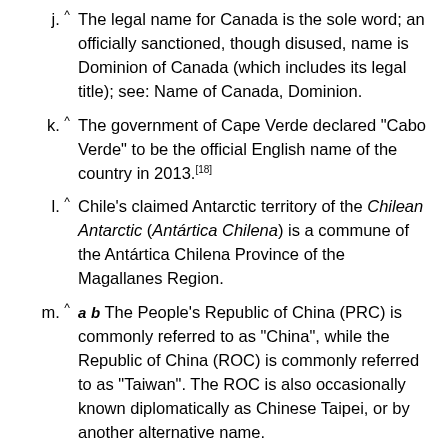j. ^ The legal name for Canada is the sole word; an officially sanctioned, though disused, name is Dominion of Canada (which includes its legal title); see: Name of Canada, Dominion.
k. ^ The government of Cape Verde declared "Cabo Verde" to be the official English name of the country in 2013.[18]
l. ^ Chile's claimed Antarctic territory of the Chilean Antarctic (Antártica Chilena) is a commune of the Antártica Chilena Province of the Magallanes Region.
m. ^ a b The People's Republic of China (PRC) is commonly referred to as "China", while the Republic of China (ROC) is commonly referred to as "Taiwan". The ROC is also occasionally known diplomatically as Chinese Taipei, or by another alternative name.
n. ^ a b In 1949, the Republic of Chi... (cut off)